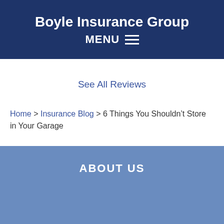Boyle Insurance Group
MENU ≡
See All Reviews
Home > Insurance Blog > 6 Things You Shouldn't Store in Your Garage
ABOUT US